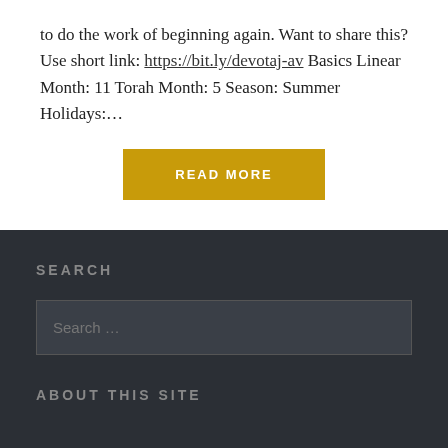to do the work of beginning again. Want to share this? Use short link: https://bit.ly/devotaj-av Basics Linear Month: 11 Torah Month: 5 Season: Summer Holidays:…
READ MORE
SEARCH
Search …
ABOUT THIS SITE